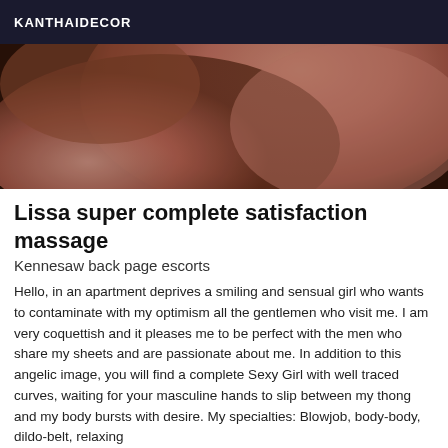KANTHAIDECOR
[Figure (photo): Close-up photo, warm pinkish-brown skin tones, blurred abstract detail]
Lissa super complete satisfaction massage
Kennesaw back page escorts
Hello, in an apartment deprives a smiling and sensual girl who wants to contaminate with my optimism all the gentlemen who visit me. I am very coquettish and it pleases me to be perfect with the men who share my sheets and are passionate about me. In addition to this angelic image, you will find a complete Sexy Girl with well traced curves, waiting for your masculine hands to slip between my thong and my body bursts with desire. My specialties: Blowjob, body-body, dildo-belt, relaxing